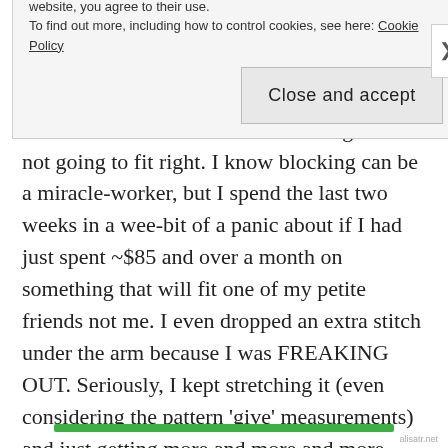side. Now instead of using DPNs and knitting the ribbing I chose to go totally out of order here and block now. Why did I do this? Well, for starters I was convinced this thing was not going to fit right. I know blocking can be a miracle-worker, but I spend the last two weeks in a wee-bit of a panic about if I had just spent ~$85 and over a month on something that will fit one of my petite friends not me. I even dropped an extra stitch under the arm because I was FREAKING OUT. Seriously, I kept stretching it (even considering the pattern 'give' measurements) and just getting more and more and more worried.
Privacy & Cookies: This site uses cookies. By continuing to use this website, you agree to their use.
To find out more, including how to control cookies, see here: Cookie Policy
Close and accept